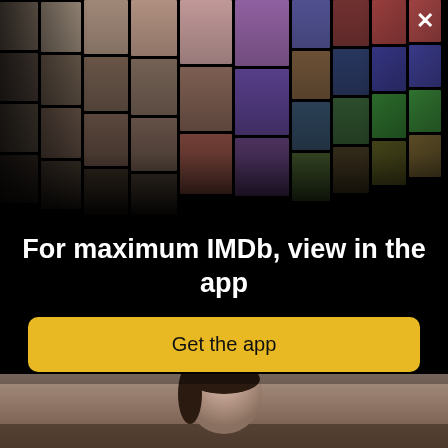[Figure (screenshot): IMDb app promotional overlay showing a collage of celebrities and movie posters arranged in a perspective grid on a black background, with a white X close button in the top right corner.]
For maximum IMDb, view in the app
[Figure (other): Yellow rounded rectangle button labeled 'Get the app']
[Figure (photo): Photo of a young woman with dark hair looking slightly off-camera, appears to be sitting in a vehicle, background blurred.]